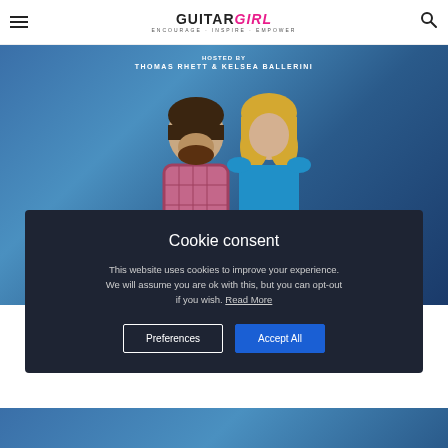Guitar Girl Magazine — ENCOURAGE · INSPIRE · EMPOWER
[Figure (photo): Photo of two people (Thomas Rhett and Kelsea Ballerini) against a blue bokeh background with text 'HOSTED BY THOMAS RHETT & KELSEA BALLERINI']
Cookie consent
This website uses cookies to improve your experience. We will assume you are ok with this, but you can opt-out if you wish. Read More
Preferences | Accept All